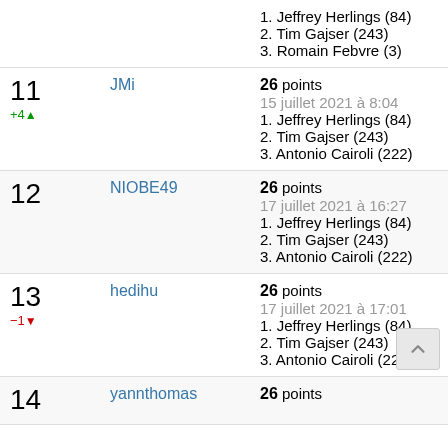| Rank | User | Answer |
| --- | --- | --- |
|  |  | 1. Jeffrey Herlings (84)
2. Tim Gajser (243)
3. Romain Febvre (3) |
| 11
+4↑ | JMi | 26 points
15 juillet 2021 à 8:04
1. Jeffrey Herlings (84)
2. Tim Gajser (243)
3. Antonio Cairoli (222) |
| 12 | NIOBE49 | 26 points
17 juillet 2021 à 16:27
1. Jeffrey Herlings (84)
2. Tim Gajser (243)
3. Antonio Cairoli (222) |
| 13
-1↓ | hedihu | 26 points
17 juillet 2021 à 17:01
1. Jeffrey Herlings (84)
2. Tim Gajser (243)
3. Antonio Cairoli (222) |
| 14 | yannthomas | 26 points |